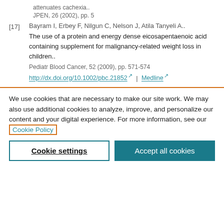attenuates cachexia..
JPEN, 26 (2002), pp. 5
[17] Bayram I, Erbey F, Nilgun C, Nelson J, Atila Tanyeli A.. The use of a protein and energy dense eicosapentaenoic acid containing supplement for malignancy-related weight loss in children.. Pediatr Blood Cancer, 52 (2009), pp. 571-574 http://dx.doi.org/10.1002/pbc.21852 | Medline
We use cookies that are necessary to make our site work. We may also use additional cookies to analyze, improve, and personalize our content and your digital experience. For more information, see our Cookie Policy
Cookie settings
Accept all cookies